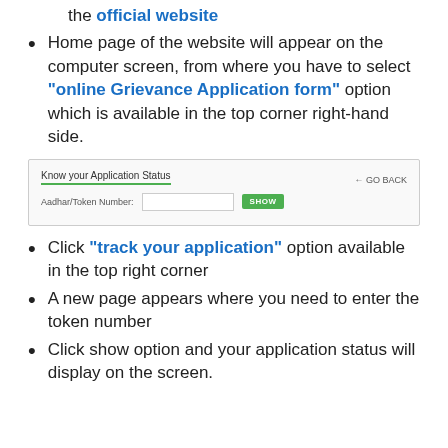the official website
Home page of the website will appear on the computer screen, from where you have to select "online Grievance Application form" option which is available in the top corner right-hand side.
[Figure (screenshot): Screenshot of 'Know your Application Status' web form with Aadhar/Token Number input field and SHOW button, with a GO BACK link in the top right.]
Click "track your application" option available in the top right corner
A new page appears where you need to enter the token number
Click show option and your application status will display on the screen.